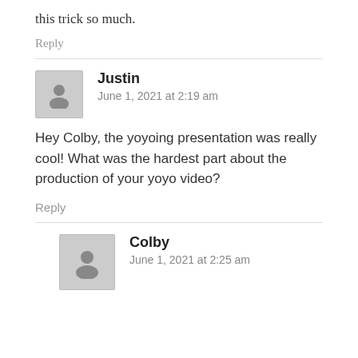this trick so much.
Reply
Justin
June 1, 2021 at 2:19 am
Hey Colby, the yoyoing presentation was really cool! What was the hardest part about the production of your yoyo video?
Reply
Colby
June 1, 2021 at 2:25 am